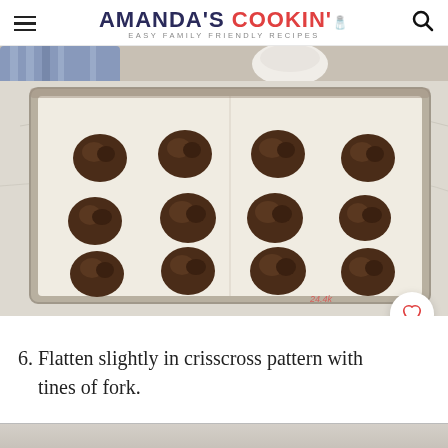AMANDA'S COOKIN' — EASY FAMILY FRIENDLY RECIPES
[Figure (photo): Chocolate cookie dough balls arranged in rows on a parchment-lined baking sheet, viewed from above at a slight angle. 12 scoops of dark chocolate cookie dough are evenly spaced on the sheet.]
6. Flatten slightly in crisscross pattern with tines of fork.